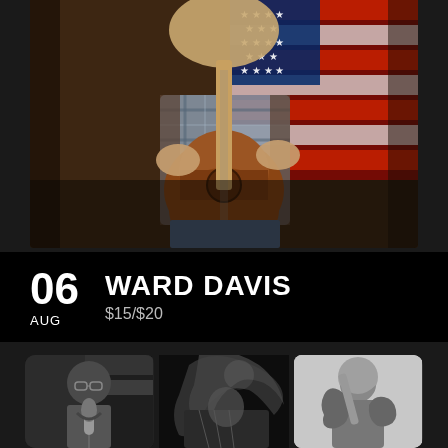[Figure (photo): Musician playing acoustic guitar seated in front of an American flag backdrop, wearing plaid shirt and vest]
06 WARD DAVIS
AUG   $15/$20
[Figure (photo): Three black and white performance photos: left shows a singer at a vintage microphone, center shows a guitarist with hair flying, right shows a guitarist playing electric guitar]